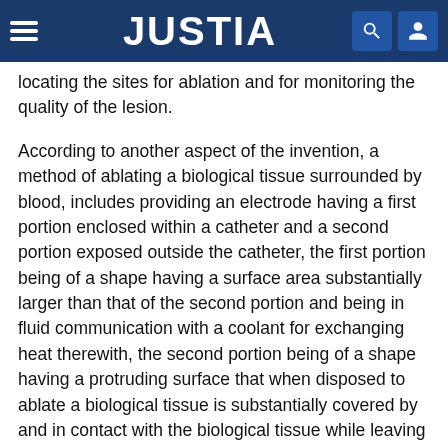JUSTIA
locating the sites for ablation and for monitoring the quality of the lesion.
According to another aspect of the invention, a method of ablating a biological tissue surrounded by blood, includes providing an electrode having a first portion enclosed within a catheter and a second portion exposed outside the catheter, the first portion being of a shape having a surface area substantially larger than that of the second portion and being in fluid communication with a coolant for exchanging heat therewith, the second portion being of a shape having a protruding surface that when disposed to ablate a biological tissue is substantially covered by and in contact with the biological tissue while leaving a minimum surface area not in contact with and uncovered by the biological tissue, disposing the second portion of the electrode against the biological tissue